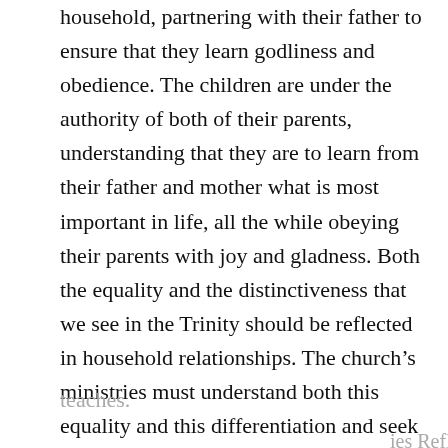household, partnering with their father to ensure that they learn godliness and obedience. The children are under the authority of both of their parents, understanding that they are to learn from their father and mother what is most important in life, all the while obeying their parents with joy and gladness. Both the equality and the distinctiveness that we see in the Trinity should be reflected in household relationships. The church’s ministries must understand both this equality and this differentiation and seek to reinforce this in what the church encourages and
teaches.